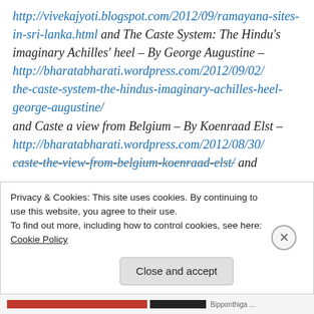http://vivekajyoti.blogspot.com/2012/09/ramayana-sites-in-sri-lanka.html and The Caste System: The Hindu's imaginary Achilles' heel – By George Augustine – http://bharatabharati.wordpress.com/2012/09/02/the-caste-system-the-hindus-imaginary-achilles-heel-george-augustine/ and Caste a view from Belgium – By Koenraad Elst – http://bharatabharati.wordpress.com/2012/08/30/caste-the-view-from-belgium-koenraad-elst/ and
Privacy & Cookies: This site uses cookies. By continuing to use this website, you agree to their use.
To find out more, including how to control cookies, see here: Cookie Policy